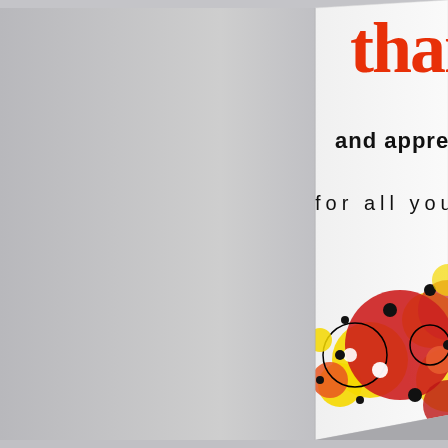[Figure (photo): A thank you greeting card photographed at an angle, showing partial text 'thank' in orange cursive script at top, 'and appreci[ated]' in bold black sans-serif, 'for all you do' in black monospace-style text, and colorful red, yellow, and orange circle decorations with black dot accents at the bottom of the card. The card is set against a light grey background.]